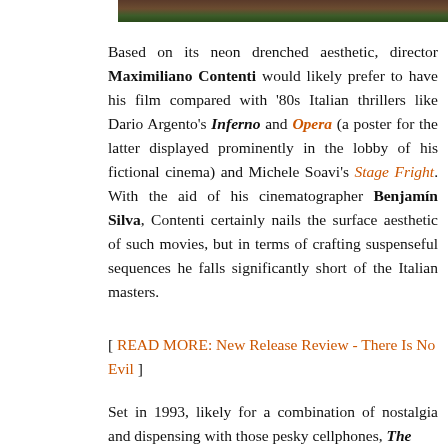[Figure (photo): Top portion of a film still image, showing partial view with warm and cool tones]
Based on its neon drenched aesthetic, director Maximiliano Contenti would likely prefer to have his film compared with '80s Italian thrillers like Dario Argento's Inferno and Opera (a poster for the latter displayed prominently in the lobby of his fictional cinema) and Michele Soavi's Stage Fright. With the aid of his cinematographer Benjamín Silva, Contenti certainly nails the surface aesthetic of such movies, but in terms of crafting suspenseful sequences he falls significantly short of the Italian masters.
[ READ MORE: New Release Review - There Is No Evil ]
Set in 1993, likely for a combination of nostalgia and dispensing with those pesky cellphones, The